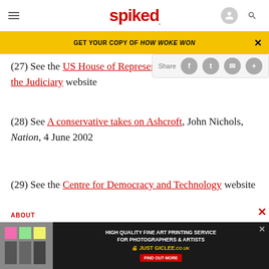spiked
GET YOUR COPY OF HOW WOKE WON
(27) See the US House of Representatives, Committee on the Judiciary website
(28) See A conservative takes on Ashcroft, John Nichols, Nation, 4 June 2002
(29) See the Centre for Democracy and Technology website
[Figure (screenshot): Ad banner: HIGH QUALITY FINE ART PRINTING SERVICE FOR PHOTOGRAPHERS & ARTISTS JUST GICLEE]
ABOUT